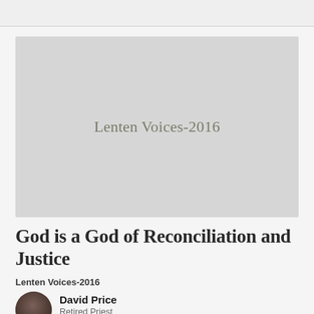[Figure (illustration): Gray placeholder image with text 'Lenten Voices-2016' centered in muted olive-gray color]
God is a God of Reconciliation and Justice
Lenten Voices-2016
David Price
Retired Priest
March 6, 2016